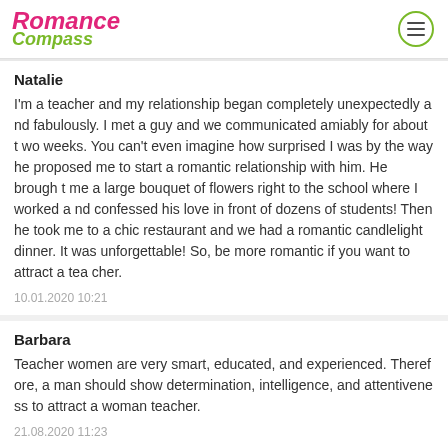Romance Compass
Natalie
I'm a teacher and my relationship began completely unexpectedly and fabulously. I met a guy and we communicated amiably for about two weeks. You can't even imagine how surprised I was by the way he proposed me to start a romantic relationship with him. He brought me a large bouquet of flowers right to the school where I worked and confessed his love in front of dozens of students! Then he took me to a chic restaurant and we had a romantic candlelight dinner. It was unforgettable! So, be more romantic if you want to attract a teacher.
10.01.2020 10:21
Barbara
Teacher women are very smart, educated, and experienced. Therefore, a man should show determination, intelligence, and attentiveness to attract a woman teacher.
21.08.2020 11:23
Add Comment
Type a Name